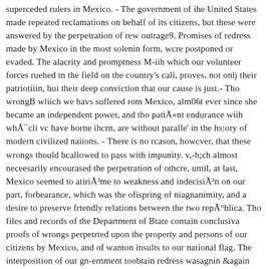superceded rulers in Mexico. - The government of ihe United States made repeated reclamations on behalf of its citizens, but these were answered by the perpetration of rew outrage9. Promises of redress made by Mexico in the most solenin form, wcre postponed or evaded. The alacrity and promptness M-iih which our volunteer forces ruehed tn the field on the country's cali, proves, not onlj their patriotiiin, bui their deep conviction that our cause is just.- Tho wrongB wliich we havs suflered rom Mexico, alm06t ever since she became an independent power, and tho patiÃ«nt endurance wiih whÃ¯cli vc have borne ihcrn, are without paralle' in the hs:ory of modern civilized naiions. - There is no rcason, howcver, that these wrongs thould bcallowed to pass with impunity. v,-h;ch almost neceesarily encourased the perpetration of othcre, until, at last, Mexico seemed to atiriÃ³me to weakness and indecisiÃ³n on our part, forbearance, which was the ofispring of niagnanimity, and a desire to preserve frtendly relations between the two repÃ°blica. Tho files and records of the Department of Btate contain conclusiva proofs of wrongs perpetrted upon the property and persons of our citizens by Mexico, and of wanton insults to our national flag. The interposition of our gn-ernment toobtain redress wasagnin &again invoked ander circums anees which no naiion ought to isregard. It was hoped that